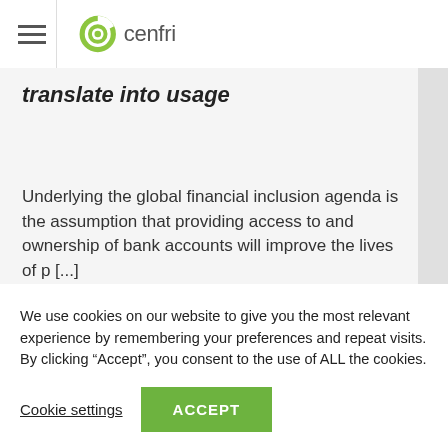cenfri
translate into usage
Underlying the global financial inclusion agenda is the assumption that providing access to and ownership of bank accounts will improve the lives of p [...]
We use cookies on our website to give you the most relevant experience by remembering your preferences and repeat visits. By clicking “Accept”, you consent to the use of ALL the cookies.